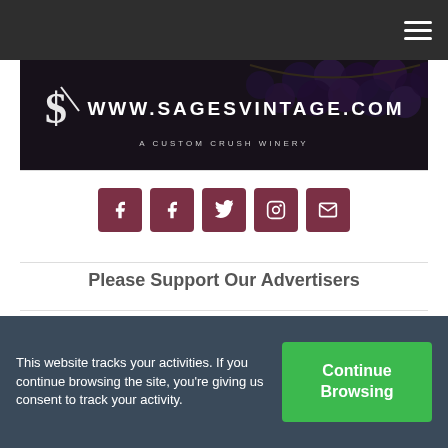Navigation bar with hamburger menu
[Figure (logo): Sage's Vintage winery banner with grape background: www.sagesvintage.com — A Custom Crush Winery]
[Figure (infographic): Social media icon buttons: Facebook, Facebook, Twitter, Instagram, Email — dark red/maroon square buttons]
Please Support Our Advertisers
[Figure (illustration): Advertisement for Hill Country Wine Tours — All-Inclusive Private Door To Door Day Trips, blue-toned banner with vehicle image]
This website tracks your activities. If you continue browsing the site, you're giving us consent to track your activity.